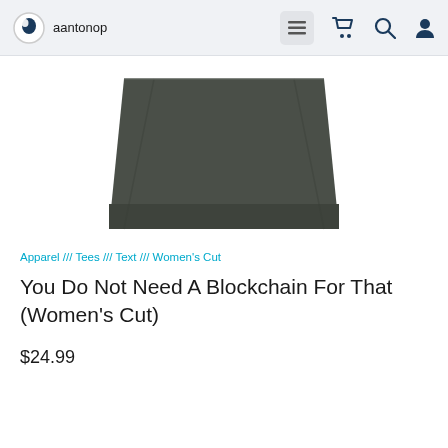aantonop
[Figure (photo): Dark olive/charcoal colored folded fabric item (t-shirt or similar garment) shown flat against white background]
Apparel /// Tees /// Text /// Women's Cut
You Do Not Need A Blockchain For That (Women's Cut)
$24.99